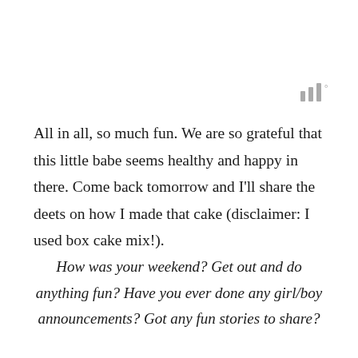[Figure (logo): Three vertical bars of increasing height followed by a degree symbol, in gray, resembling a stylized logo or icon]
All in all, so much fun. We are so grateful that this little babe seems healthy and happy in there. Come back tomorrow and I'll share the deets on how I made that cake (disclaimer: I used box cake mix!).
How was your weekend? Get out and do anything fun? Have you ever done any girl/boy announcements? Got any fun stories to share?